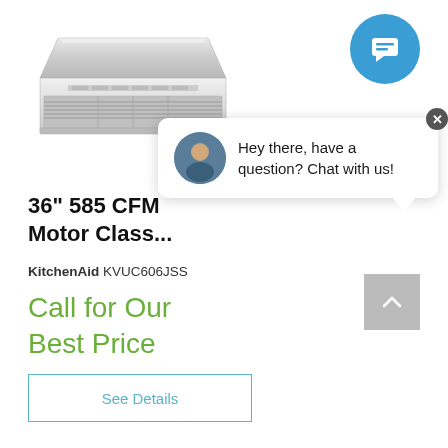[Figure (photo): Product image of a stainless steel 36-inch under-cabinet range hood ventilation unit]
[Figure (screenshot): Chat widget popup with avatar photo of a man and text: Hey there, have a question? Chat with us!]
36" 585 CFM Motor Class...
KitchenAid KVUC606JSS
Call for Our Best Price
See Details